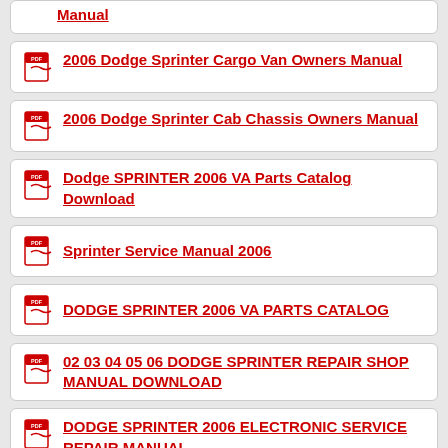Manual
2006 Dodge Sprinter Cargo Van Owners Manual
2006 Dodge Sprinter Cab Chassis Owners Manual
Dodge SPRINTER 2006 VA Parts Catalog Download
Sprinter Service Manual 2006
DODGE SPRINTER 2006 VA PARTS CATALOG
02 03 04 05 06 DODGE SPRINTER REPAIR SHOP MANUAL DOWNLOAD
DODGE SPRINTER 2006 ELECTRONIC SERVICE REPAIR MANUAL